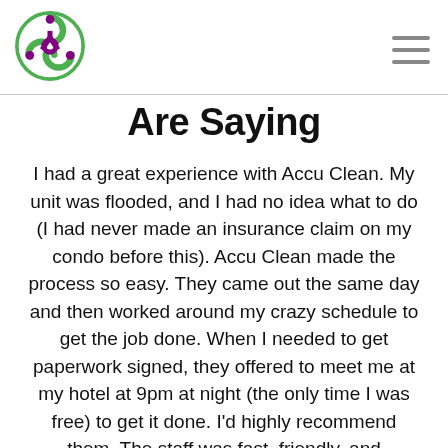[Figure (logo): Biohazard symbol logo with purple and green colors]
Are Saying
I had a great experience with Accu Clean. My unit was flooded, and I had no idea what to do (I had never made an insurance claim on my condo before this). Accu Clean made the process so easy. They came out the same day and then worked around my crazy schedule to get the job done. When I needed to get paperwork signed, they offered to meet me at my hotel at 9pm at night (the only time I was free) to get it done. I'd highly recommend them. The staff was fast, friendly, and professional. Richard in particular is AMAZING! And their